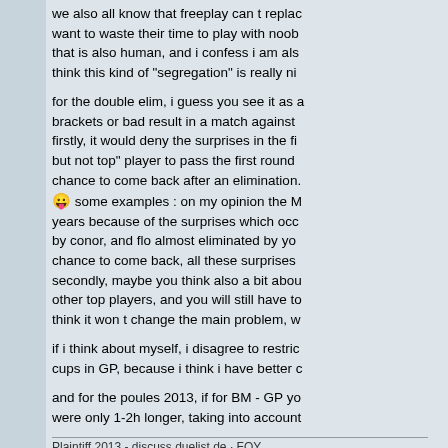we also all know that freeplay can t replace want to waste their time to play with noob that is also human, and i confess i am als think this kind of "segregation" is really ni
for the double elim, i guess you see it as a brackets or bad result in a match against firstly, it would deny the surprises in the fi but not top" player to pass the first round chance to come back after an elimination. 😛 some examples : on my opinion the M years because of the surprises which occ by conor, and flo almost eliminated by yo chance to come back, all these surprises secondly, maybe you think also a bit abou other top players, and you will still have to think it won t change the main problem, w
if i think about myself, i disagree to restric cups in GP, because i think i have better c
and for the poules 2013, if for BM - GP yo were only 1-2h longer, taking into account
Plaintiff 2013 - discuss.duelist.de · FOY...